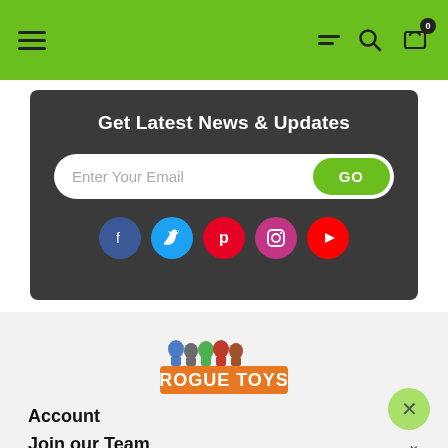Navigation header with hamburger menu, list icon, search icon, and cart icon (0 items)
Get Latest News & Updates
Enter Your Email  GO
[Figure (infographic): Social media icons: Facebook (blue), Twitter (cyan), Pinterest (red), Instagram (magenta), YouTube (red)]
[Figure (logo): Rogue Toys logo with cartoon characters and orange block lettering]
Account
Join our Team